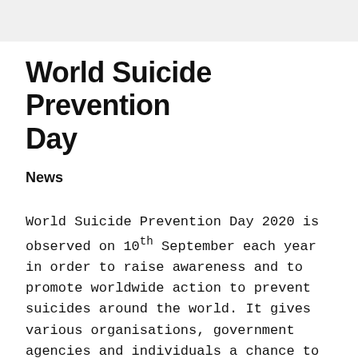World Suicide Prevention Day
News
World Suicide Prevention Day 2020 is observed on 10th September each year in order to raise awareness and to promote worldwide action to prevent suicides around the world. It gives various organisations, government agencies and individuals a chance to promote awareness about suicide, mental illnesses associated with suicide, as well as suicide prevention. Some well-known organisations such as the International